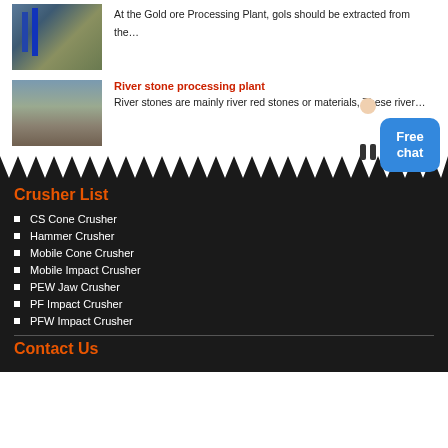[Figure (photo): Industrial processing plant with blue equipment and structures]
At the Gold ore Processing Plant, gols should be extracted from the…
[Figure (photo): River stone quarry or processing site with rocky terrain and machinery]
River stone processing plant
River stones are mainly river red stones or materials, These river…
Crusher List
CS Cone Crusher
Hammer Crusher
Mobile Cone Crusher
Mobile Impact Crusher
PEW Jaw Crusher
PF Impact Crusher
PFW Impact Crusher
Contact Us